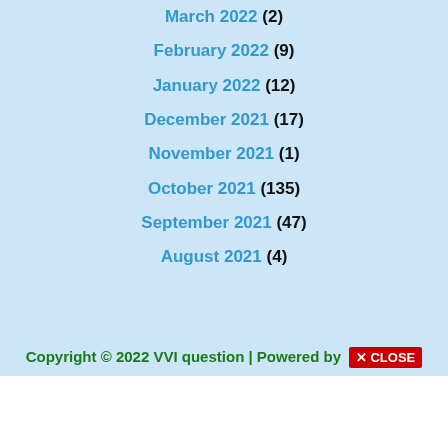March 2022 (2)
February 2022 (9)
January 2022 (12)
December 2021 (17)
November 2021 (1)
October 2021 (135)
September 2021 (47)
August 2021 (4)
Copyright © 2022 VVI question | Powered by [CLOSE]